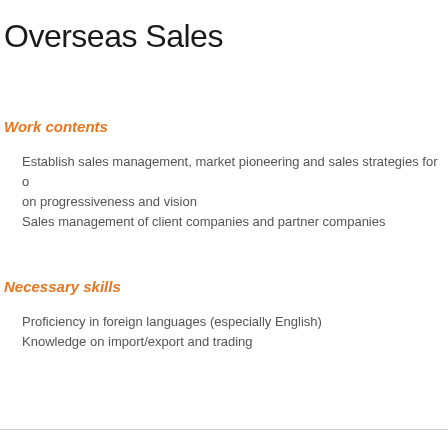Overseas Sales
Work contents
Establish sales management, market pioneering and sales strategies for o on progressiveness and vision
Sales management of client companies and partner companies
Necessary skills
Proficiency in foreign languages (especially English)
Knowledge on import/export and trading